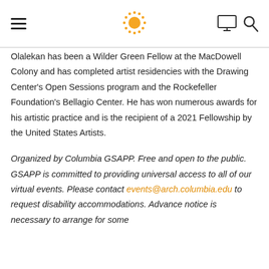[Navigation header with hamburger menu, Columbia GSAPP sun logo, monitor icon, and search icon]
Olalekan has been a Wilder Green Fellow at the MacDowell Colony and has completed artist residencies with the Drawing Center's Open Sessions program and the Rockefeller Foundation's Bellagio Center. He has won numerous awards for his artistic practice and is the recipient of a 2021 Fellowship by the United States Artists.
Organized by Columbia GSAPP. Free and open to the public. GSAPP is committed to providing universal access to all of our virtual events. Please contact events@arch.columbia.edu to request disability accommodations. Advance notice is necessary to arrange for some...